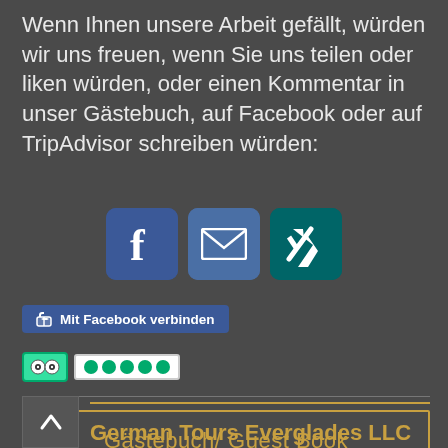Wenn Ihnen unsere Arbeit gefällt, würden wir uns freuen, wenn Sie uns teilen oder liken würden, oder einen Kommentar in unser Gästebuch, auf Facebook oder auf TripAdvisor schreiben würden:
[Figure (infographic): Three social media icon buttons: Facebook (blue), Email/Mail (blue), and Xing (teal)]
[Figure (infographic): Facebook connect button with thumbs up icon reading 'Mit Facebook verbinden']
[Figure (infographic): TripAdvisor logo with five green dots rating]
Gästebuch/ Guest Book
German Tours Everglades LLC